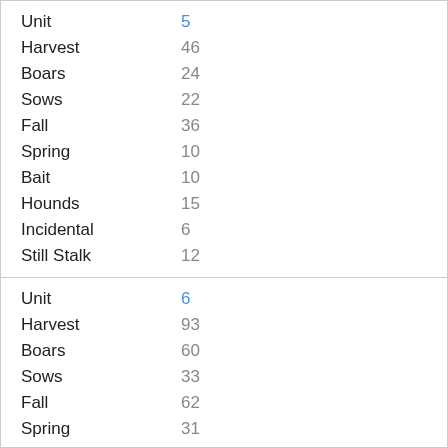| Field | Value |
| --- | --- |
| Unit | 5 |
| Harvest | 46 |
| Boars | 24 |
| Sows | 22 |
| Fall | 36 |
| Spring | 10 |
| Bait | 10 |
| Hounds | 15 |
| Incidental | 6 |
| Still Stalk | 12 |
| Field | Value |
| --- | --- |
| Unit | 6 |
| Harvest | 93 |
| Boars | 60 |
| Sows | 33 |
| Fall | 62 |
| Spring | 31 |
| Bait | 13 |
| Hounds | 21 |
| Incidental | 24 |